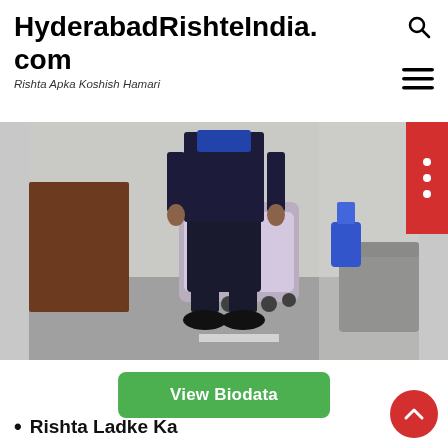HyderabadRishteIndia.com
Rishta Apka Koshish Hamari
[Figure (photo): A person standing in an office/room setting wearing dark clothes and black shoes, with office chairs and furniture visible in the background]
View Biodata
Rishta Ladke Ka